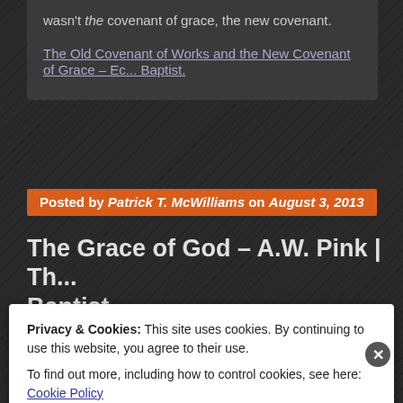wasn't the covenant of grace, the new covenant.
The Old Covenant of Works and the New Covenant of Grace – Ec... Baptist.
Posted by Patrick T. McWilliams on August 3, 2013
The Grace of God – A.W. Pink | Th... Baptist
Posted in: Uncategorized. Tagged: A.W. Pink, common grace, Grace, mercy...
Privacy & Cookies: This site uses cookies. By continuing to use this website, you agree to their use.
To find out more, including how to control cookies, see here: Cookie Policy
Close and accept